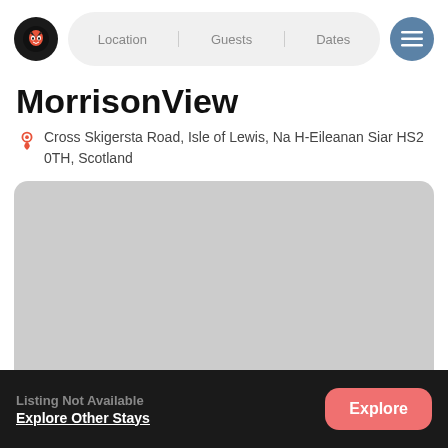Location   Guests   Dates
MorrisonView
Cross Skigersta Road, Isle of Lewis, Na H-Eileanan Siar HS2 0TH, Scotland
[Figure (photo): Gray placeholder image area for property photo]
Listing Not Available
Explore Other Stays   Explore